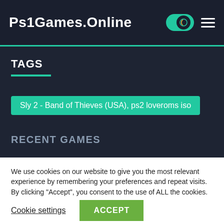Ps1Games.Online
TAGS
Sly 2 - Band of Thieves (USA), ps2 loveroms iso
RECENT GAMES
We use cookies on our website to give you the most relevant experience by remembering your preferences and repeat visits. By clicking “Accept”, you consent to the use of ALL the cookies. Do not sell my personal information.
Cookie settings  ACCEPT